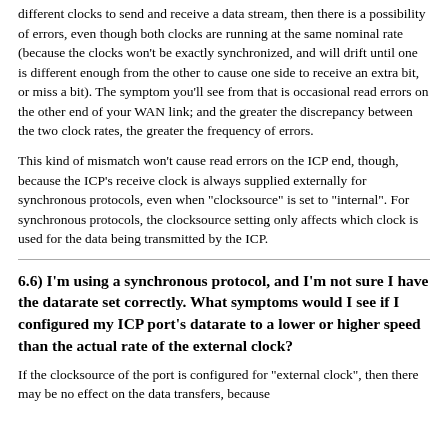different clocks to send and receive a data stream, then there is a possibility of errors, even though both clocks are running at the same nominal rate (because the clocks won't be exactly synchronized, and will drift until one is different enough from the other to cause one side to receive an extra bit, or miss a bit). The symptom you'll see from that is occasional read errors on the other end of your WAN link; and the greater the discrepancy between the two clock rates, the greater the frequency of errors.
This kind of mismatch won't cause read errors on the ICP end, though, because the ICP's receive clock is always supplied externally for synchronous protocols, even when "clocksource" is set to "internal". For synchronous protocols, the clocksource setting only affects which clock is used for the data being transmitted by the ICP.
6.6) I'm using a synchronous protocol, and I'm not sure I have the datarate set correctly. What symptoms would I see if I configured my ICP port's datarate to a lower or higher speed than the actual rate of the external clock?
If the clocksource of the port is configured for "external clock", then there may be no effect on the data transfers, because